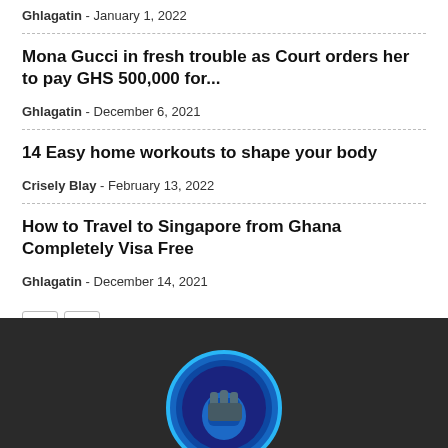Ghlagatin - January 1, 2022
Mona Gucci in fresh trouble as Court orders her to pay GHS 500,000 for...
Ghlagatin - December 6, 2021
14 Easy home workouts to shape your body
Crisely Blay - February 13, 2022
How to Travel to Singapore from Ghana Completely Visa Free
Ghlagatin - December 14, 2021
[Figure (logo): Dark footer section with a blue circular logo at the bottom center]